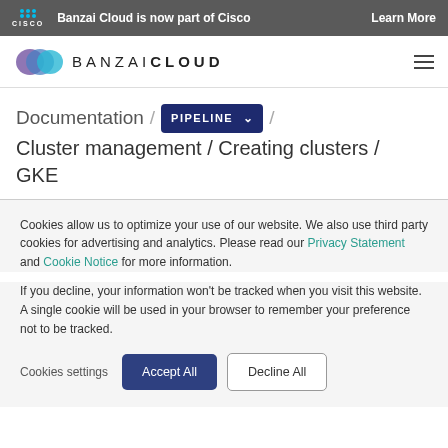Banzai Cloud is now part of Cisco   Learn More
[Figure (logo): Banzai Cloud logo with colorful overlapping circles and wordmark BANZAICLOUD]
Documentation / PIPELINE / Cluster management / Creating clusters / GKE
Cookies allow us to optimize your use of our website. We also use third party cookies for advertising and analytics. Please read our Privacy Statement and Cookie Notice for more information.
If you decline, your information won't be tracked when you visit this website. A single cookie will be used in your browser to remember your preference not to be tracked.
Cookies settings   Accept All   Decline All